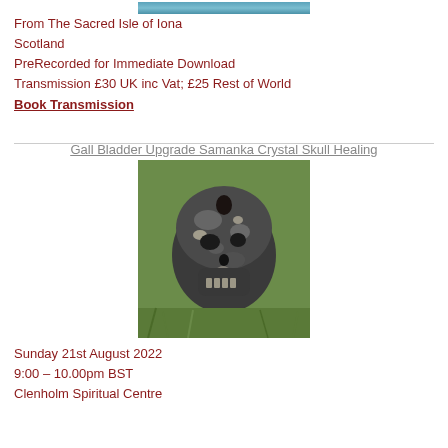[Figure (photo): Top portion of a photo showing the sea near Iona, Scotland - blue water visible at the top]
From The Sacred Isle of Iona
Scotland
PreRecorded for Immediate Download
Transmission £30 UK inc Vat; £25 Rest of World
Book Transmission
Gall Bladder Upgrade Samanka Crystal Skull Healing
[Figure (photo): A crystal skull made of dark stone with mottled grey, black and white patterns, sitting on green grass outdoors]
Sunday 21st August 2022
9:00 – 10.00pm BST
Clenholm Spiritual Centre